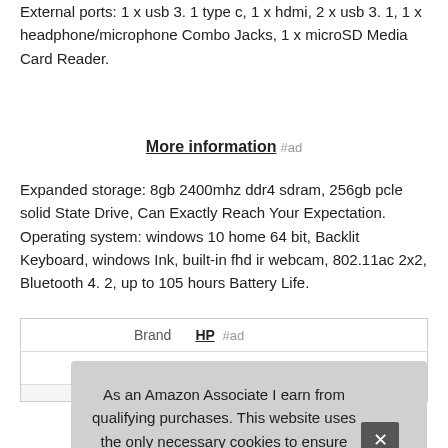External ports: 1 x usb 3. 1 type c, 1 x hdmi, 2 x usb 3. 1, 1 x headphone/microphone Combo Jacks, 1 x microSD Media Card Reader.
More information #ad
Expanded storage: 8gb 2400mhz ddr4 sdram, 256gb pcle solid State Drive, Can Exactly Reach Your Expectation. Operating system: windows 10 home 64 bit, Backlit Keyboard, windows Ink, built-in fhd ir webcam, 802.11ac 2x2, Bluetooth 4. 2, up to 105 hours Battery Life.
|  |  |
| --- | --- |
| Brand | HP #ad |
| M... |  |
|  |  |
As an Amazon Associate I earn from qualifying purchases. This website uses the only necessary cookies to ensure you get the best experience on our website. More information